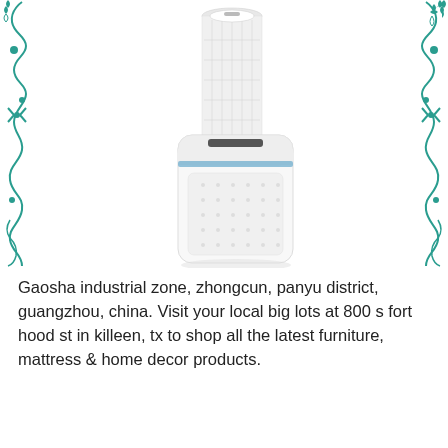[Figure (illustration): Four air purifier product images arranged in two columns with teal decorative scrollwork border on left and right sides. Top left: tall cylindrical white air purifier. Top right: Dyson-style bladeless fan/purifier in silver. Bottom left: boxy white air purifier with blue light accent on top. Bottom right: cylindrical white and grey air purifier with orange accent.]
Gaosha industrial zone, zhongcun, panyu district, guangzhou, china. Visit your local big lots at 800 s fort hood st in killeen, tx to shop all the latest furniture, mattress & home decor products.